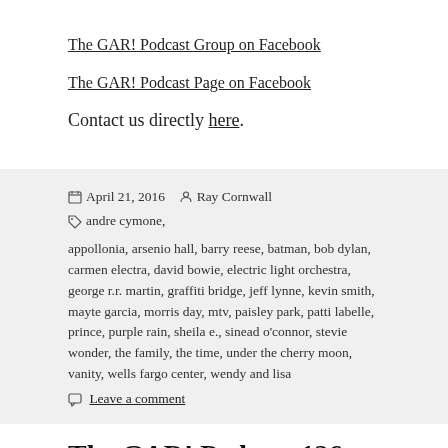The GAR! Podcast Group on Facebook
The GAR! Podcast Page on Facebook
Contact us directly here.
April 21, 2016  Ray Cornwall  andre cymone, appollonia, arsenio hall, barry reese, batman, bob dylan, carmen electra, david bowie, electric light orchestra, george r.r. martin, graffiti bridge, jeff lynne, kevin smith, mayte garcia, morris day, mtv, paisley park, patti labelle, prince, purple rain, sheila e., sinead o'connor, stevie wonder, the family, the time, under the cherry moon, vanity, wells fargo center, wendy and lisa  Leave a comment
The GAR! Podcast 126: Blu…